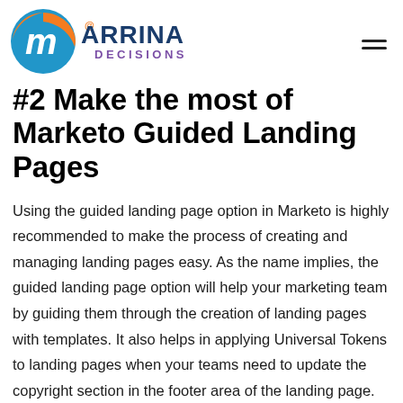[Figure (logo): Marrina Decisions logo with circular orange and blue graphic and text]
#2 Make the most of Marketo Guided Landing Pages
Using the guided landing page option in Marketo is highly recommended to make the process of creating and managing landing pages easy. As the name implies, the guided landing page option will help your marketing team by guiding them through the creation of landing pages with templates. It also helps in applying Universal Tokens to landing pages when your teams need to update the copyright section in the footer area of the landing page.